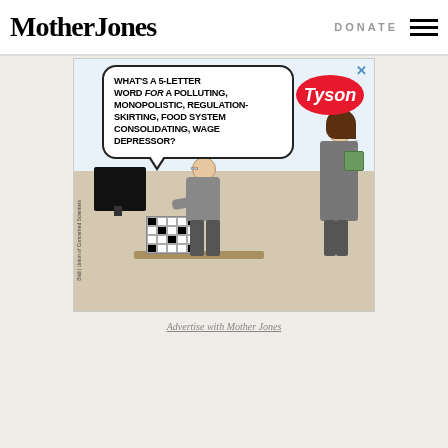Mother Jones | DONATE
[Figure (illustration): Mother Jones website screenshot showing a Union of Concerned Scientists advertisement featuring a cartoon crossword puzzle scene. A man doing a crossword puzzle asks 'WHAT'S A 5-LETTER WORD FOR A POLLUTING, MONOPOLISTIC, REGULATION-SKIRTING, FOOD SYSTEM CONSOLIDATING, WAGE DEPRESSOR?' while a woman holding a coffee mug stands nearby. A Tyson logo appears in the upper right of the ad.]
Advertise with Mother Jones